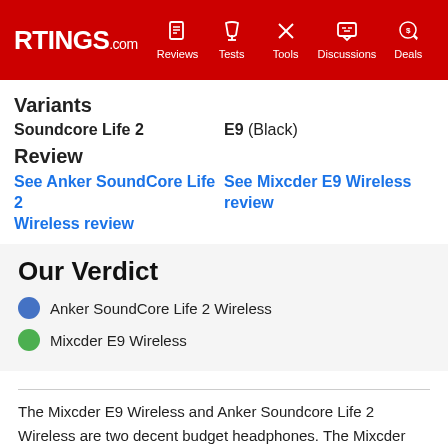RTINGS.com | Reviews | Tests | Tools | Discussions | Deals
Variants
|  |  |
| --- | --- |
| Soundcore Life 2 | E9 (Black) |
Review
See Anker SoundCore Life 2 Wireless review   See Mixcder E9 Wireless review
Our Verdict
Anker SoundCore Life 2 Wireless
Mixcder E9 Wireless
The Mixcder E9 Wireless and Anker Soundcore Life 2 Wireless are two decent budget headphones. The Mixcder are a better option when you want a balanced and neutral sound, but the Anker will be better for fans of bass. Isolation-wise, the Mixcder